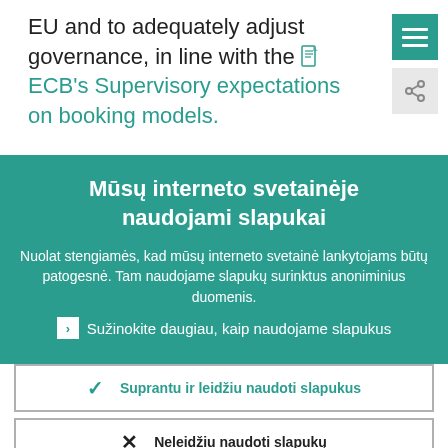EU and to adequately adjust governance, in line with the ECB's Supervisory expectations on booking models.
Mūsų interneto svetainėje naudojami slapukai
Nuolat stengiamės, kad mūsų interneto svetainė lankytojams būtų patogesnė. Tam naudojame slapukų surinktus anoniminius duomenis.
Sužinokite daugiau, kaip naudojame slapukus
Suprantu ir leidžiu naudoti slapukus
Neleidžiu naudoti slapukų